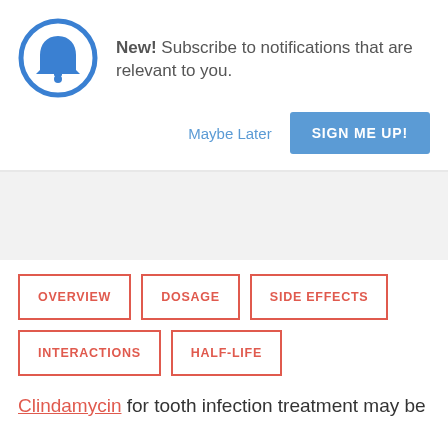[Figure (illustration): Blue bell notification icon inside a blue circle]
New! Subscribe to notifications that are relevant to you.
Maybe Later
SIGN ME UP!
OVERVIEW
DOSAGE
SIDE EFFECTS
INTERACTIONS
HALF-LIFE
Clindamycin for tooth infection treatment may be